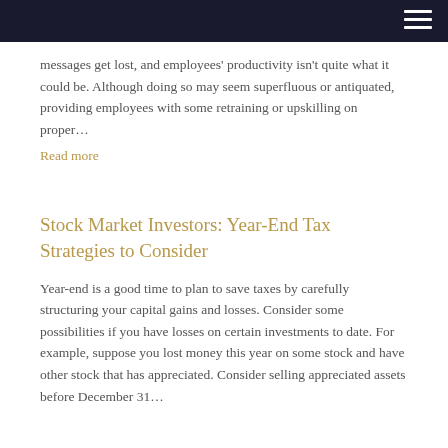messages get lost, and employees' productivity isn't quite what it could be. Although doing so may seem superfluous or antiquated, providing employees with some retraining or upskilling on proper…
Read more
Stock Market Investors: Year-End Tax Strategies to Consider
Year-end is a good time to plan to save taxes by carefully structuring your capital gains and losses. Consider some possibilities if you have losses on certain investments to date. For example, suppose you lost money this year on some stock and have other stock that has appreciated. Consider selling appreciated assets before December 31…